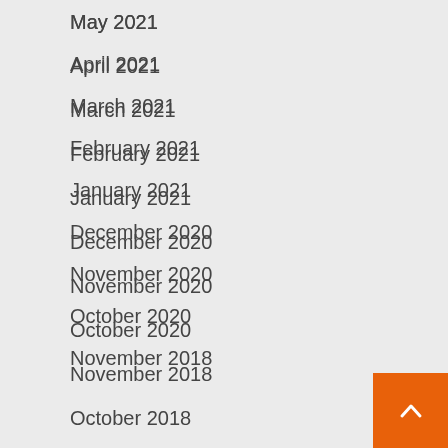May 2021
April 2021
March 2021
February 2021
January 2021
December 2020
November 2020
October 2020
November 2018
October 2018
December 2016
Categories
Crypto Edu
Education
general